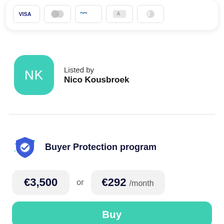[Figure (other): Payment method icons: Visa, Mastercard, PayPal, Klarna/A, Bitcoin]
Listed by
Nico Kousbroek
Buyer Protection program
€3,500  or  €292 /month
Buy